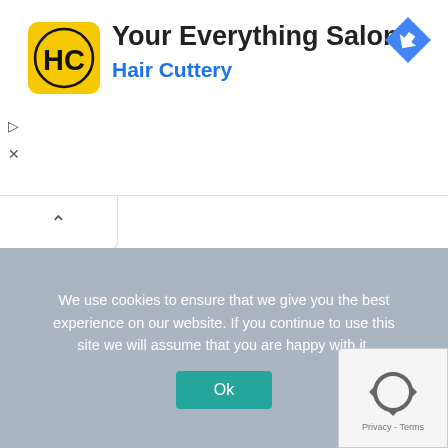[Figure (logo): Hair Cuttery ad banner with HC logo in yellow circle, navigation arrow icon, title 'Your Everything Salon' and subtitle 'Hair Cuttery' in blue]
[Figure (logo): Android robot mascot with Google Play logo badge]
[Figure (logo): reCAPTCHA badge with recycling-arrows icon, Privacy and Terms links]
We use cookies to ensure that we give you the best experience on our website. If you continue to use this site we will assume that you are happy with it.